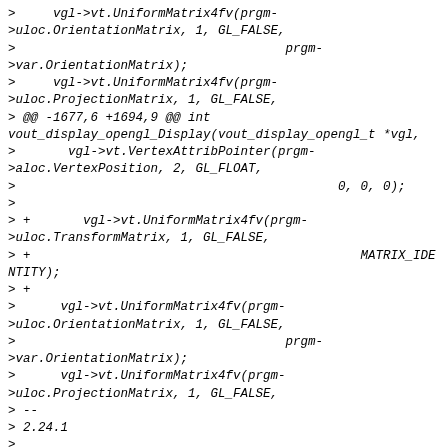>     vgl->vt.UniformMatrix4fv(prgm->uloc.OrientationMatrix, 1, GL_FALSE,
>                                    prgm->var.OrientationMatrix);
>     vgl->vt.UniformMatrix4fv(prgm->uloc.ProjectionMatrix, 1, GL_FALSE,
> @@ -1677,6 +1694,9 @@ int vout_display_opengl_Display(vout_display_opengl_t *vgl,
>       vgl->vt.VertexAttribPointer(prgm->aloc.VertexPosition, 2, GL_FLOAT,
>                                           0, 0, 0);
>
> +       vgl->vt.UniformMatrix4fv(prgm->uloc.TransformMatrix, 1, GL_FALSE,
> +                                            MATRIX_IDENTITY);
> +
>      vgl->vt.UniformMatrix4fv(prgm->uloc.OrientationMatrix, 1, GL_FALSE,
>                                    prgm->var.OrientationMatrix);
>      vgl->vt.UniformMatrix4fv(prgm->uloc.ProjectionMatrix, 1, GL_FALSE,
> --
> 2.24.1
>
>
> ___________________________________________
> vlc-devel mailing list
> To unsubscribe or modify your subscription options:
> https://mailman.videolan.org/listinfo/vlc-devel